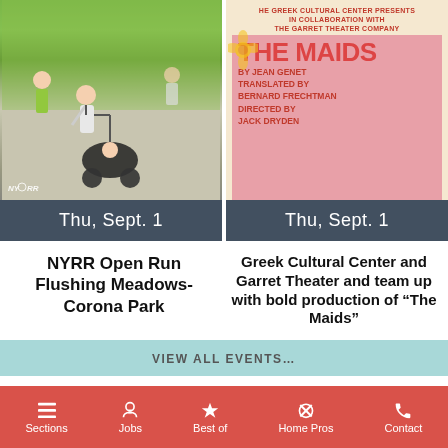[Figure (photo): Photo of runners in a park, one pushing a baby stroller. NYRR logo visible bottom left.]
[Figure (photo): Theater poster for 'The Maids' by Jean Genet, translated by Bernard Frechtman, directed by Jack Dryden. Presented by The Greek Cultural Center in collaboration with The Garret Theater Company.]
Thu, Sept. 1
Thu, Sept. 1
NYRR Open Run Flushing Meadows-Corona Park
Greek Cultural Center and Garret Theater and team up with bold production of “The Maids”
VIEW ALL EVENTS…
Sections  Jobs  Best of  Home Pros  Contact